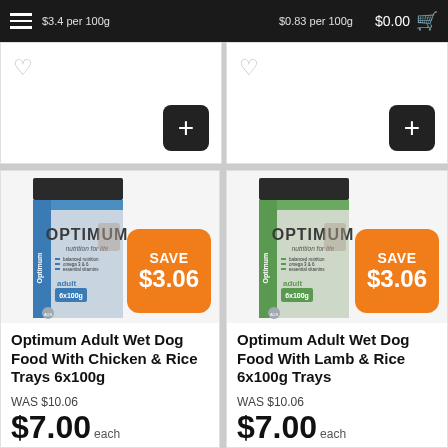$0.00 cart, hamburger menu, per 100g pricing visible
[Figure (photo): Partially visible product cards at top of page with heart/add-to-cart buttons]
[Figure (photo): Optimum Adult Wet Dog Food With Chicken & Rice Trays 6x100g box with SAVE $3.06 orange badge]
Optimum Adult Wet Dog Food With Chicken & Rice Trays 6x100g
WAS $10.06
$7.00 each
[Figure (photo): Optimum Adult Wet Dog Food With Lamb & Rice Trays 6x100g box with SAVE $3.06 orange badge]
Optimum Adult Wet Dog Food With Lamb & Rice 6x100g Trays
WAS $10.06
$7.00 each